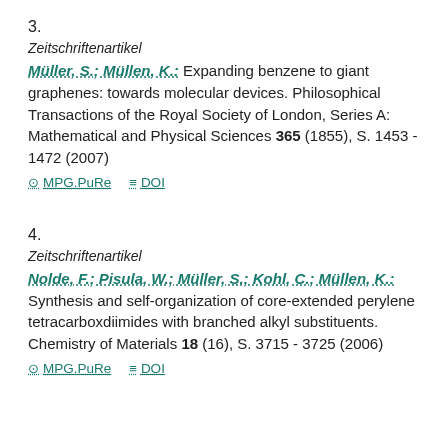3.
Zeitschriftenartikel
Müller, S.; Müllen, K.: Expanding benzene to giant graphenes: towards molecular devices. Philosophical Transactions of the Royal Society of London, Series A: Mathematical and Physical Sciences 365 (1855), S. 1453 - 1472 (2007)
MPG.PuRe   DOI
4.
Zeitschriftenartikel
Nolde, F.; Pisula, W.; Müller, S.; Kohl, C.; Müllen, K.: Synthesis and self-organization of core-extended perylene tetracarboxdiimides with branched alkyl substituents. Chemistry of Materials 18 (16), S. 3715 - 3725 (2006)
MPG.PuRe   DOI